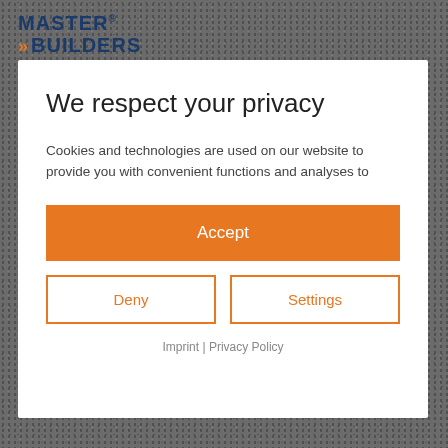[Figure (logo): Master Builders logo with double chevron arrows and registered trademark symbol]
We respect your privacy
Cookies and technologies are used on our website to provide you with convenient functions and analyses to
Accept
Deny
Settings
Imprint | Privacy Policy